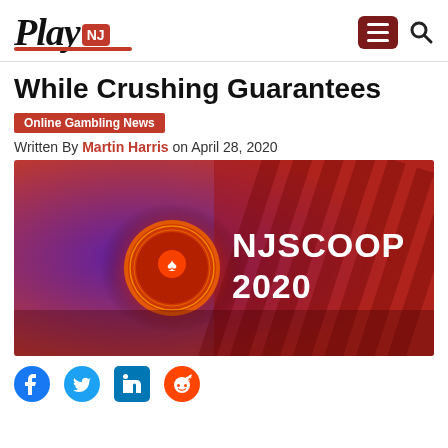PlayNJ
While Crushing Guarantees
Online Gambling News
Written By Martin Harris on April 28, 2020
[Figure (photo): NJSCOOP 2020 promotional banner with purple and red gradient background featuring the PokerStars logo and text 'NJSCOOP 2020']
Social share icons: Facebook, Twitter, LinkedIn, Reddit